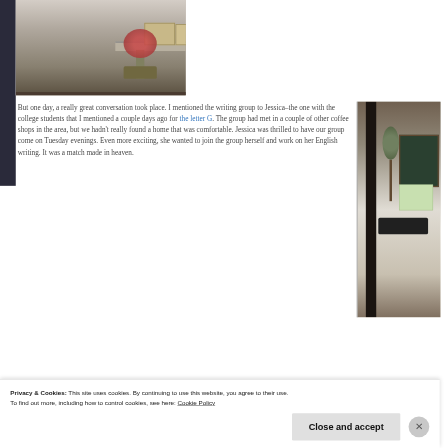[Figure (photo): Top portion of a coffee shop interior photo showing shelves, books, and a framed photograph area]
But one day, a really great conversation took place. I mentioned the writing group to Jessica–the one with the college students that I mentioned a couple days ago for the letter G. The group had met in a couple of other coffee shops in the area, but we hadn't really found a home that was comfortable. Jessica was thrilled to have our group come on Tuesday evenings. Even more exciting, she wanted to join the group herself and work on her English writing. It was a match made in heaven.
[Figure (photo): Side photo of coffee shop interior showing a tree decoration and chalkboard]
Privacy & Cookies: This site uses cookies. By continuing to use this website, you agree to their use.
To find out more, including how to control cookies, see here: Cookie Policy
Close and accept